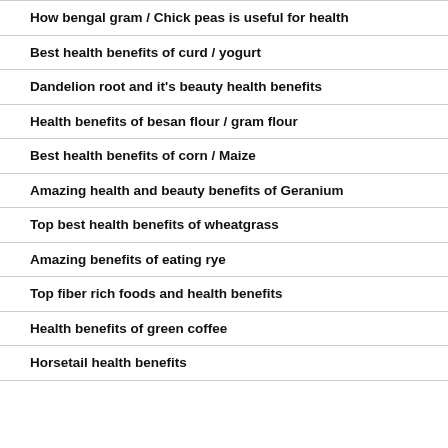How bengal gram / Chick peas is useful for health
Best health benefits of curd / yogurt
Dandelion root and it's beauty health benefits
Health benefits of besan flour / gram flour
Best health benefits of corn / Maize
Amazing health and beauty benefits of Geranium
Top best health benefits of wheatgrass
Amazing benefits of eating rye
Top fiber rich foods and health benefits
Health benefits of green coffee
Horsetail health benefits